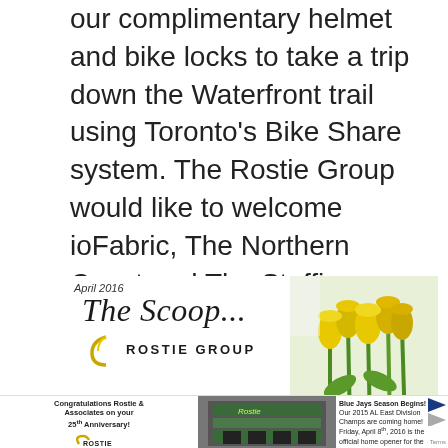our complimentary helmet and bike locks to take a trip down the Waterfront trail using Toronto's Bike Share system. The Rostie Group would like to welcome ioFabric, The Northern Coast and The Staffing Exchange to the waterfront work community; we are looking forward to a Spring and Summer full of exciting events and winning baseball games! Go Jays Go!
[Figure (illustration): Newsletter header for 'The Scoop... The Rostie Group' dated April 2016, with yellow tulips photo on the right]
[Figure (photo): Bottom strip: left section has Rostie & Associates 25th Anniversary congratulations with logo; center has photo of a building storefront; right has Blue Jays Season Begins article text with navigation arrows]